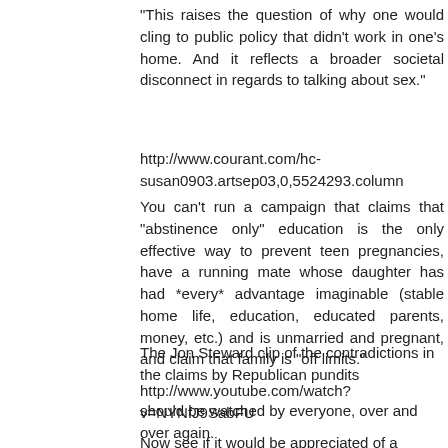"This raises the question of why one would cling to public policy that didn't work in one's home. And it reflects a broader societal disconnect in regards to talking about sex."
http://www.courant.com/hc-susan0903.artsep03,0,5524293.column
You can't run a campaign that claims that "abstinence only" education is the only effective way to prevent teen pregnancies, have a running mate whose daughter has had *every* advantage imaginable (stable home life, education, educated parents, money, etc.) and is unmarried and pregnant, and claim that family is "off limits."
The Jon Steward clip of the contradictions in the claims by Republican pundits
http://www.youtube.com/watch?v=NYNfJ9SabFU
should be watched by everyone, over and over again.
Now see if it would be appreciated of a Democrat to say